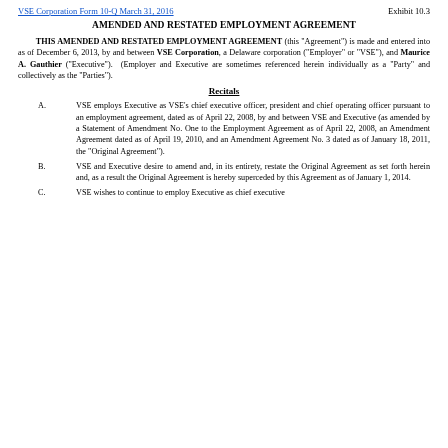VSE Corporation Form 10-Q March 31, 2016
Exhibit 10.3
AMENDED AND RESTATED EMPLOYMENT AGREEMENT
THIS AMENDED AND RESTATED EMPLOYMENT AGREEMENT (this "Agreement") is made and entered into as of December 6, 2013, by and between VSE Corporation, a Delaware corporation ("Employer" or "VSE"), and Maurice A. Gauthier ("Executive"). (Employer and Executive are sometimes referenced herein individually as a "Party" and collectively as the "Parties").
Recitals
A.      VSE employs Executive as VSE's chief executive officer, president and chief operating officer pursuant to an employment agreement, dated as of April 22, 2008, by and between VSE and Executive (as amended by a Statement of Amendment No. One to the Employment Agreement as of April 22, 2008, an Amendment Agreement dated as of April 19, 2010, and an Amendment Agreement No. 3 dated as of January 18, 2011, the "Original Agreement").
B.      VSE and Executive desire to amend and, in its entirety, restate the Original Agreement as set forth herein and, as a result the Original Agreement is hereby superceded by this Agreement as of January 1, 2014.
C.      VSE wishes to continue to employ Executive as chief executive